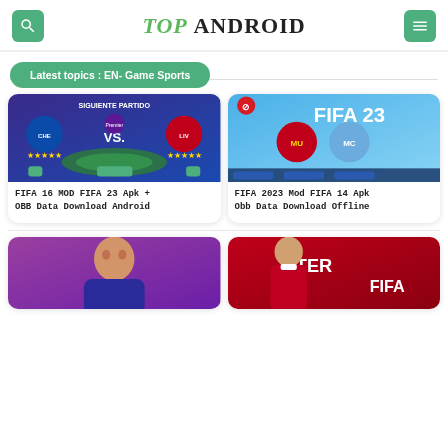TOP ANDROID
Latest topics : EN- Game Sports
[Figure (screenshot): FIFA 16 MOD FIFA 23 game screenshot showing Chelsea vs Liverpool Premier League match]
FIFA 16 MOD FIFA 23 Apk + OBB Data Download Android
[Figure (screenshot): FIFA 2023 Mod FIFA 14 screenshot showing Manchester United vs Manchester City]
FIFA 2023 Mod FIFA 14 Apk Obb Data Download Offline
[Figure (screenshot): Soccer player on purple background]
[Figure (screenshot): Soccer player in red jersey, STER and FIFA text visible]